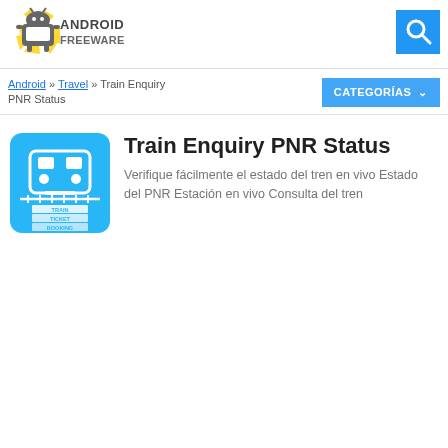[Figure (logo): Android Freeware logo with Android robot icon and sun rays, text ANDROID FREEWARE]
[Figure (other): Blue search icon button]
Android » Travel » Train Enquiry PNR Status
CATEGORÍAS ∨
[Figure (illustration): Train Enquiry PNR Status app icon - cyan/blue background with white train and ticket booking text]
Train Enquiry PNR Status
Verifique fácilmente el estado del tren en vivo Estado del PNR Estación en vivo Consulta del tren